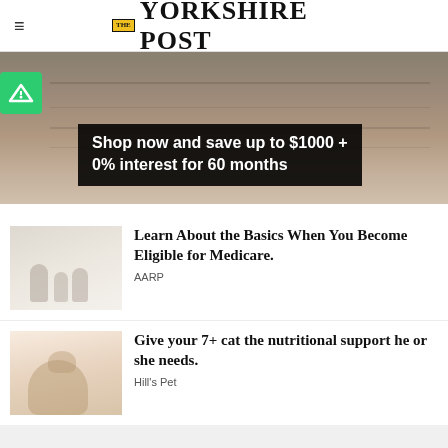THE YORKSHIRE POST
[Figure (infographic): Advertisement banner showing furniture/flooring image with green logo badge and text: Shop now and save up to $1000 + 0% interest for 60 months]
[Figure (photo): Thumbnail image of people walking, associated with Medicare article]
Learn About the Basics When You Become Eligible for Medicare.
AARP
[Figure (photo): Thumbnail image of a cat, associated with Hill's Pet article]
Give your 7+ cat the nutritional support he or she needs.
Hill's Pet